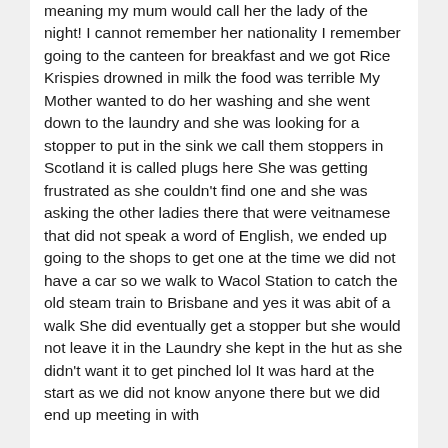meaning my mum would call her the lady of the night! I cannot remember her nationality I remember going to the canteen for breakfast and we got Rice Krispies drowned in milk the food was terrible My Mother wanted to do her washing and she went down to the laundry and she was looking for a stopper to put in the sink we call them stoppers in Scotland it is called plugs here She was getting frustrated as she couldn't find one and she was asking the other ladies there that were veitnamese that did not speak a word of English, we ended up going to the shops to get one at the time we did not have a car so we walk to Wacol Station to catch the old steam train to Brisbane and yes it was abit of a walk She did eventually get a stopper but she would not leave it in the Laundry she kept in the hut as she didn't want it to get pinched lol It was hard at the start as we did not know anyone there but we did end up meeting in with